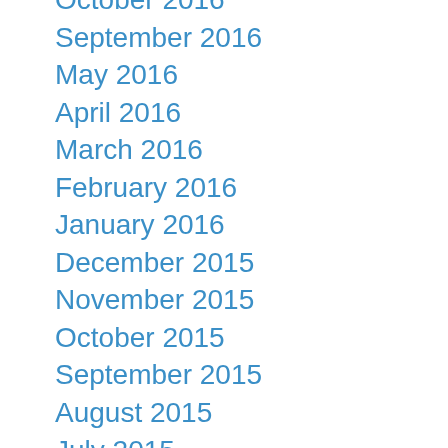October 2016
September 2016
May 2016
April 2016
March 2016
February 2016
January 2016
December 2015
November 2015
October 2015
September 2015
August 2015
July 2015
April 2015
March 2015